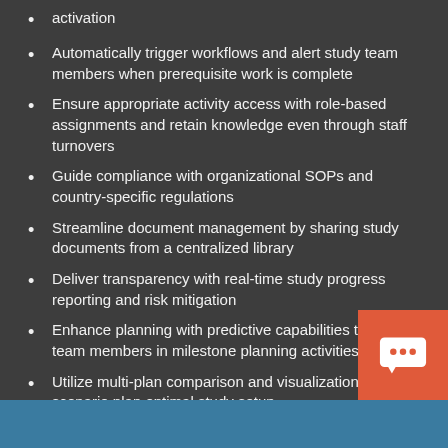activation
Automatically trigger workflows and alert study team members when prerequisite work is complete
Ensure appropriate activity access with role-based assignments and retain knowledge even through staff turnovers
Guide compliance with organizational SOPs and country-specific regulations
Streamline document management by sharing study documents from a centralized library
Deliver transparency with real-time study progress reporting and risk mitigation
Enhance planning with predictive capabilities that guide team members in milestone planning activities
Utilize multi-plan comparison and visualization tools to scenario plan optimal study setup